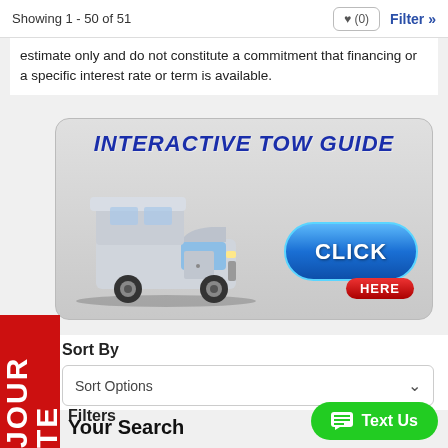Showing 1 - 50 of 51  ♥ (0)  Filter »
estimate only and do not constitute a commitment that financing or a specific interest rate or term is available.
[Figure (infographic): Interactive Tow Guide banner with a truck-camper illustration and a blue 'CLICK HERE' button]
Sort By
Sort Options
Filters
Your Search
Text Us